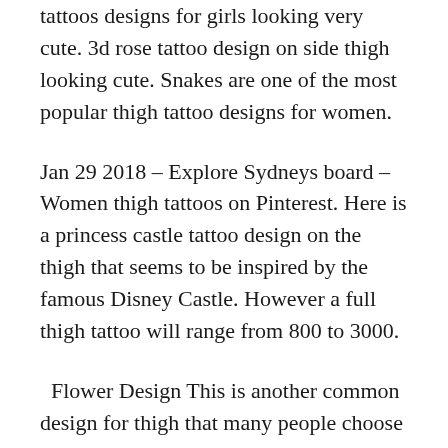tattoos designs for girls looking very cute. 3d rose tattoo design on side thigh looking cute. Snakes are one of the most popular thigh tattoo designs for women.
Jan 29 2018 – Explore Sydneys board –Women thigh tattoos on Pinterest. Here is a princess castle tattoo design on the thigh that seems to be inspired by the famous Disney Castle. However a full thigh tattoo will range from 800 to 3000.
Flower Design This is another common design for thigh that many people choose especially women. Flowers tattoos are best designs for